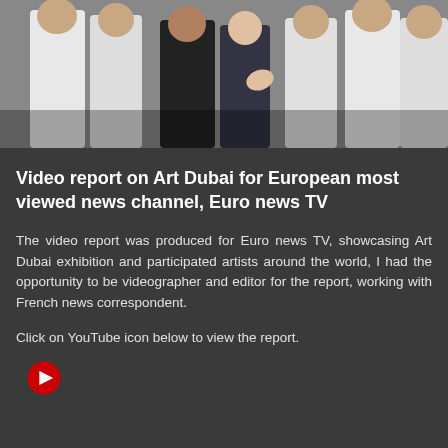[Figure (photo): Group of people standing together, some wearing white robes (thobes) and one person in dark clothing, with what appears to be an interview or discussion taking place at an art exhibition]
Video report on Art Dubai for European most viewed news channel, Euro news TV
The video report was produced for Euro news TV, showcasing Art Dubai exhibition and participated artists around the world, I had the opportunity to be videographer and editor for the report, working with French news correspondent.
Click on YouTube icon below to view the report.
[Figure (logo): YouTube icon - red circle with white play button triangle in center]